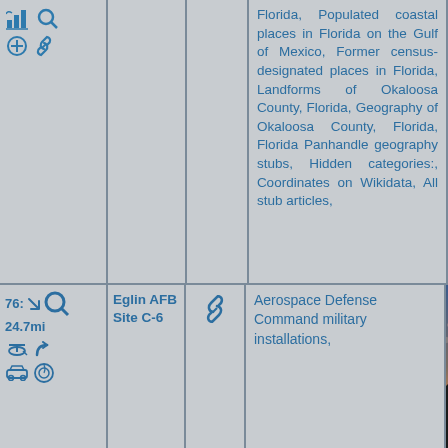Florida, Populated coastal places in Florida on the Gulf of Mexico, Former census-designated places in Florida, Landforms of Okaloosa County, Florida, Geography of Okaloosa County, Florida, Florida Panhandle geography stubs, Hidden categories:, Coordinates on Wikidata, All stub articles,
[Figure (other): Icons: bar chart, magnifying glass, plus/add, link symbols in blue]
76: 24.7mi
Eglin AFB Site C-6
Aerospace Defense Command military installations,
[Figure (photo): Photograph showing a silhouette of a structure or landform against a sunset/twilight sky with orange and blue hues]